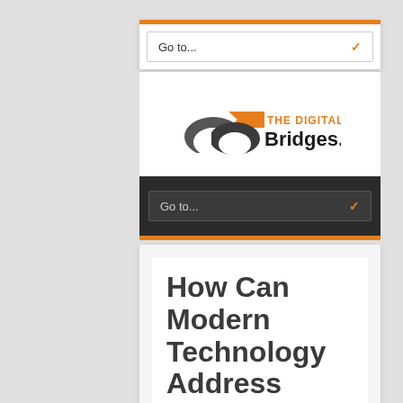[Figure (screenshot): Top white navigation bar with orange top border, containing a 'Go to...' dropdown with orange chevron]
[Figure (logo): The Digital Bridges.com logo with orange arrow/bridge graphic and dark text]
[Figure (screenshot): Dark navigation bar with 'Go to...' dropdown, orange chevron, and orange bottom border]
How Can Modern Technology Address Gaps In The Health